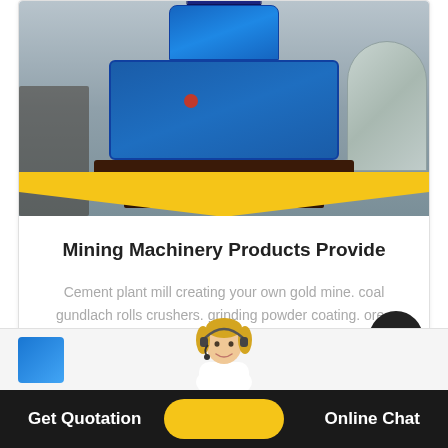[Figure (photo): Industrial mining machinery — large blue vertical mill/grinder on a factory floor with concrete and metal surroundings]
Mining Machinery Products Provide
Cement plant mill creating your own gold mine. coal gundlach rolls crushers. grinding powder coating. ore..
read more
[Figure (photo): Partial view of next product card with blue thumbnail image]
[Figure (photo): Customer service representative with headset, partially visible above the bottom bar]
Get Quotation   Online Chat